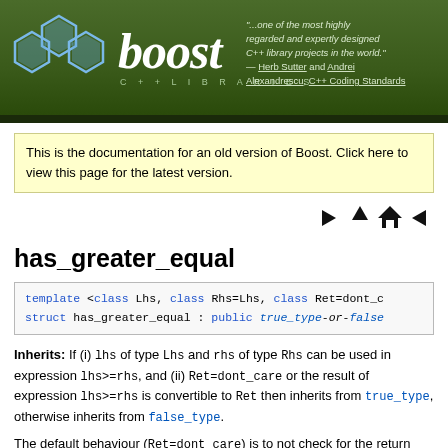[Figure (logo): Boost C++ Libraries header banner with hexagon logo, large italic 'boost' text, subtitle 'C++ LIBRARIES', and a quote from Herb Sutter and Andrei Alexandrescu, C++ Coding Standards]
This is the documentation for an old version of Boost. Click here to view this page for the latest version.
[Figure (other): Navigation arrows: left, up, home, right]
has_greater_equal
template <class Lhs, class Rhs=Lhs, class Ret=dont_c
struct has_greater_equal : public true_type-or-false
Inherits: If (i) lhs of type Lhs and rhs of type Rhs can be used in expression lhs>=rhs, and (ii) Ret=dont_care or the result of expression lhs>=rhs is convertible to Ret then inherits from true_type, otherwise inherits from false_type.
The default behaviour (Ret=dont_care) is to not check for the return value of binary operator>=. If Ret is different from the default dont_care type, the return value is checked to be convertible to Ret. Convertible to Ret means that the return value of the operator can be